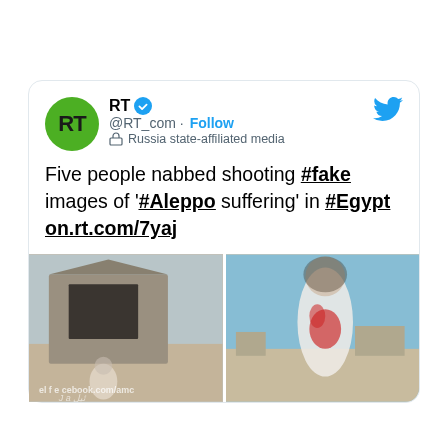[Figure (screenshot): Screenshot of an RT (@RT_com) tweet on Twitter. The tweet reads: 'Five people nabbed shooting #fake images of '#Aleppo suffering' in #Egypt on.rt.com/7yaj'. The tweet includes two photos showing a child near a damaged building and a girl in a white dress with red stains, both set in a desert-like environment. The RT account has a green logo with 'RT' in black, a blue verified checkmark, and is labeled 'Russia state-affiliated media'.]